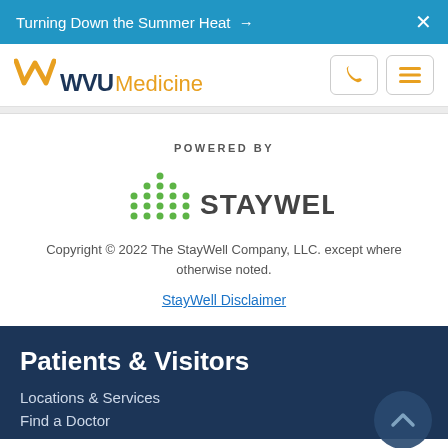Turning Down the Summer Heat → X
[Figure (logo): WVU Medicine logo with gold W, navy WVU text, and gold Medicine text]
POWERED BY
[Figure (logo): StayWell logo with green dot-pattern bar chart icon and dark gray STAYWELL. wordmark]
Copyright © 2022 The StayWell Company, LLC. except where otherwise noted.
StayWell Disclaimer
Patients & Visitors
Locations & Services
Find a Doctor